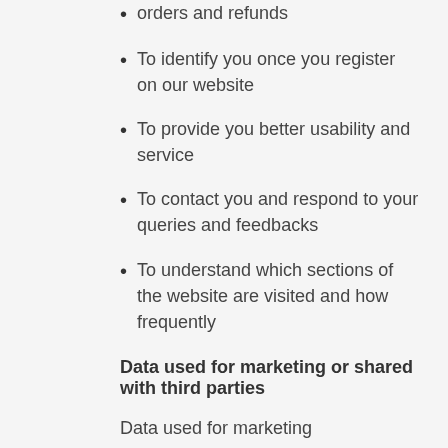orders and refunds
To identify you once you register on our website
To provide you better usability and service
To contact you and respond to your queries and feedbacks
To understand which sections of the website are visited and how frequently
Data used for marketing or shared with third parties
Data used for marketing